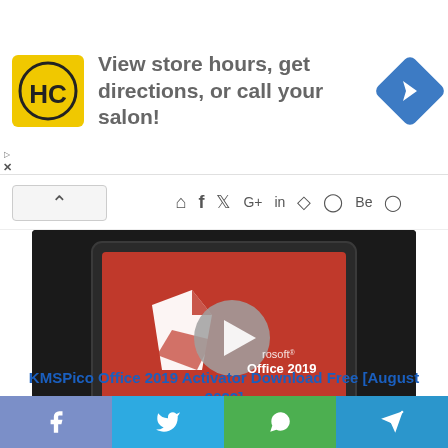[Figure (screenshot): Advertisement banner with HC logo, text 'View store hours, get directions, or call your salon!' and a blue navigation arrow icon]
[Figure (screenshot): Social media icons row: home, facebook, twitter, google+, linkedin, tumblr, pinterest, behance, instagram]
[Figure (screenshot): Microsoft Office 2019 logo on a dark laptop screen with a circular play button overlay]
KMSPico Office 2019 Activator Download Free [August 2022]
[Figure (screenshot): Social share bar with Facebook, Twitter, WhatsApp, and Telegram buttons]